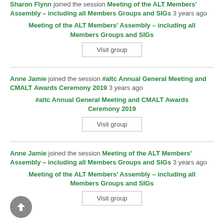Sharon Flynn joined the session Meeting of the ALT Members' Assembly – including all Members Groups and SIGs 3 years ago
Meeting of the ALT Members' Assembly – including all Members Groups and SIGs
Visit group
Anne Jamie joined the session #altc Annual General Meeting and CMALT Awards Ceremony 2019 3 years ago
#altc Annual General Meeting and CMALT Awards Ceremony 2019
Visit group
Anne Jamie joined the session Meeting of the ALT Members' Assembly – including all Members Groups and SIGs 3 years ago
Meeting of the ALT Members' Assembly – including all Members Groups and SIGs
Visit group